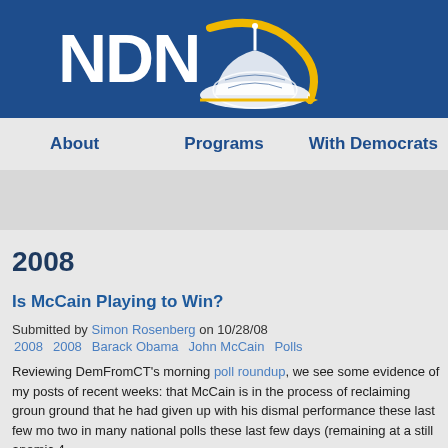[Figure (logo): NDN organization logo with Capitol dome graphic in white and gold on dark blue background]
About   Programs   With Democrats
2008
Is McCain Playing to Win?
Submitted by Simon Rosenberg on 10/28/08
2008   2008   Barack Obama   John McCain   Polls
Reviewing DemFromCT's morning poll roundup, we see some evidence of my posts of recent weeks: that McCain is in the process of reclaiming ground that he had given up with his dismal performance these last few months two in many national polls these last few days (remaining at a still anemic 4...